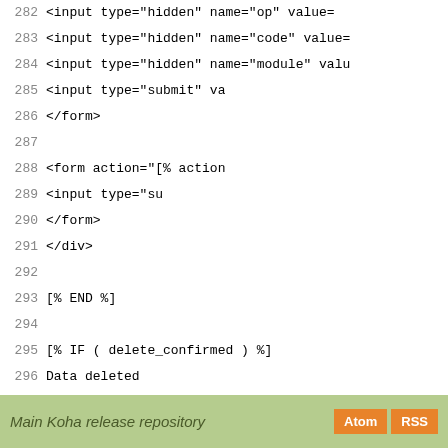Code listing lines 282-310 showing HTML template code with form elements, Template Toolkit directives, and div elements
Main Koha release repository  Atom  RSS